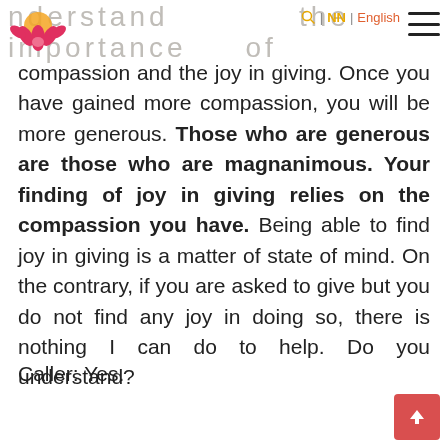understand the importance of compassion and the joy in giving. | NN | English
compassion and the joy in giving. Once you have gained more compassion, you will be more generous. Those who are generous are those who are magnanimous. Your finding of joy in giving relies on the compassion you have. Being able to find joy in giving is a matter of state of mind. On the contrary, if you are asked to give but you do not find any joy in doing so, there is nothing I can do to help. Do you understand?
Caller: Yes.